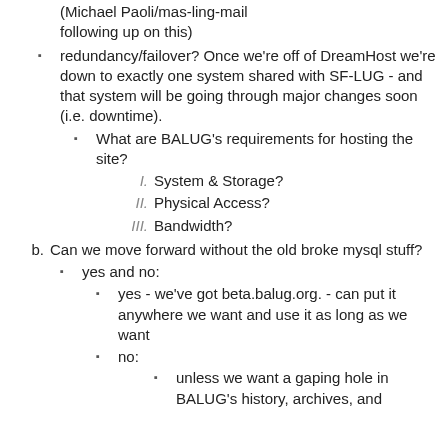(Michael Paoli/mas-ling-mail following up on this)
redundancy/failover? Once we're off of DreamHost we're down to exactly one system shared with SF-LUG - and that system will be going through major changes soon (i.e. downtime).
What are BALUG's requirements for hosting the site?
I. System & Storage?
II. Physical Access?
III. Bandwidth?
b. Can we move forward without the old broke mysql stuff?
yes and no:
yes - we've got beta.balug.org. - can put it anywhere we want and use it as long as we want
no:
unless we want a gaping hole in BALUG's history, archives, and